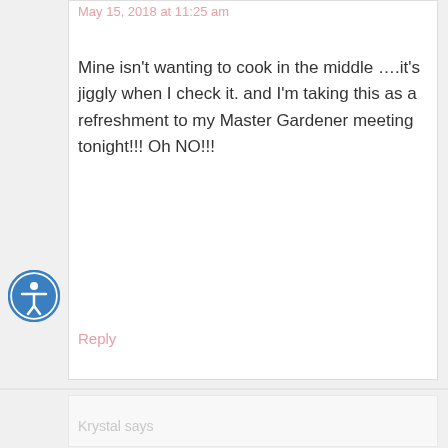May 15, 2018 at 11:25 am
Mine isn’t wanting to cook in the middle ….it’s jiggly when I check it. and I’m taking this as a refreshment to my Master Gardener meeting tonight!!! Oh NO!!!
Reply
Krystal says